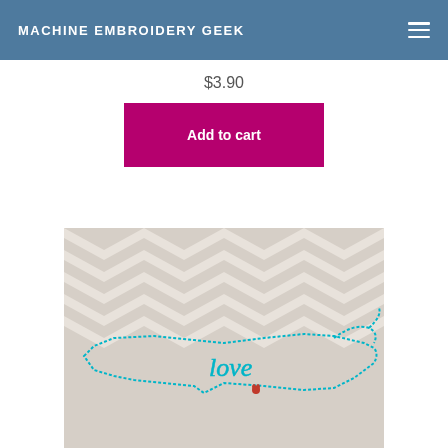MACHINE EMBROIDERY GEEK
$3.90
Add to cart
[Figure (photo): Embroidery design on chevron fabric showing a state outline with cursive 'love' text in teal thread and a small red heart]